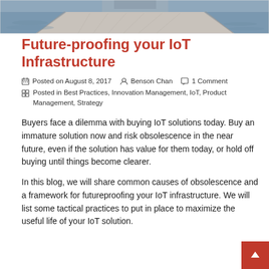[Figure (photo): Hero image of a marina or harbor walkway/dock with boats and water in the background, viewed from above at an angle.]
Future-proofing your IoT Infrastructure
Posted on August 8, 2017   Benson Chan   1 Comment
Posted in Best Practices, Innovation Management, IoT, Product Management, Strategy
Buyers face a dilemma with buying IoT solutions today. Buy an immature solution now and risk obsolescence in the near future, even if the solution has value for them today, or hold off buying until things become clearer.
In this blog, we will share common causes of obsolescence and a framework for futureproofing your IoT infrastructure. We will list some tactical practices to put in place to maximize the useful life of your IoT solution.